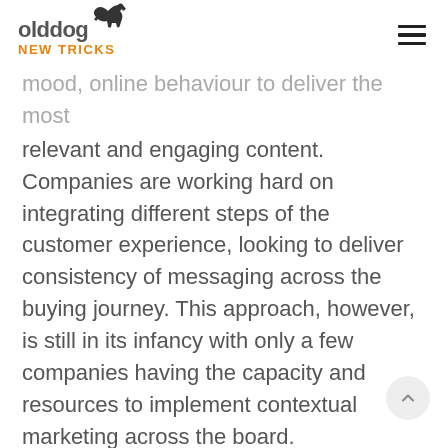olddog NEW TRICKS
mood, online behaviour to deliver the most relevant and engaging content. Companies are working hard on integrating different steps of the customer experience, looking to deliver consistency of messaging across the buying journey. This approach, however, is still in its infancy with only a few companies having the capacity and resources to implement contextual marketing across the board.
2. Semantic SEO
A little bit like an online mind reader, semantic SEO aims to decipher what kind of question the